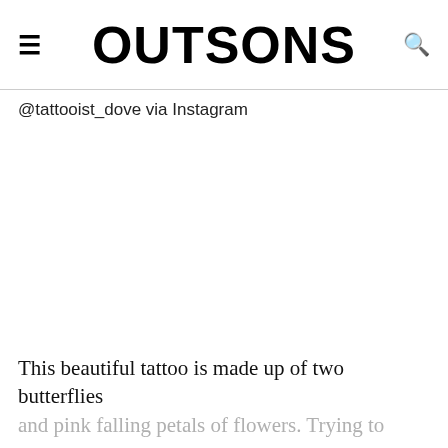OUTSONS
@tattooist_dove via Instagram
[Figure (photo): Photo placeholder area (tattoo image from @tattooist_dove)]
This beautiful tattoo is made up of two butterflies and pink falling petals of flowers. Trying to